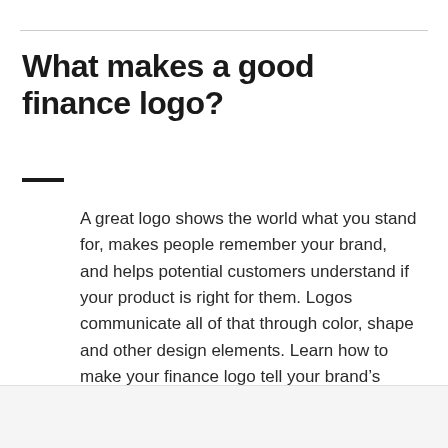What makes a good finance logo?
A great logo shows the world what you stand for, makes people remember your brand, and helps potential customers understand if your product is right for them. Logos communicate all of that through color, shape and other design elements. Learn how to make your finance logo tell your brand's story.